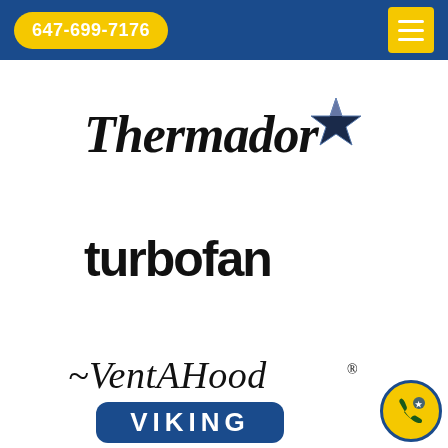647-699-7176
[Figure (logo): Thermador brand logo with italic bold text and a 3D dark star icon]
[Figure (logo): turbofan brand logo in bold black sans-serif text]
[Figure (logo): VentAHood brand logo in italic script with a tilde-like mark at start]
[Figure (logo): VIKING brand logo white text on dark blue rounded rectangle]